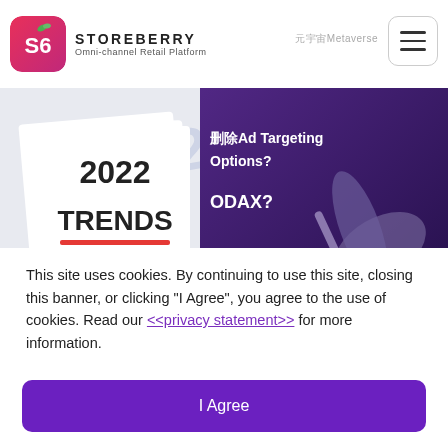STOREBERRY Omni-channel Retail Platform
[Figure (screenshot): Storeberry 2022 Trends banner image with purple background showing '2022 TRENDS' text on white card on left, and Chinese/English text '删除Ad Targeting Options? ODAX?' on right with stylized hand. Storeberry logo and Chinese tagline at bottom left of banner.]
This site uses cookies. By continuing to use this site, closing this banner, or clicking "I Agree", you agree to the use of cookies. Read our <<privacy statement>> for more information.
I Agree